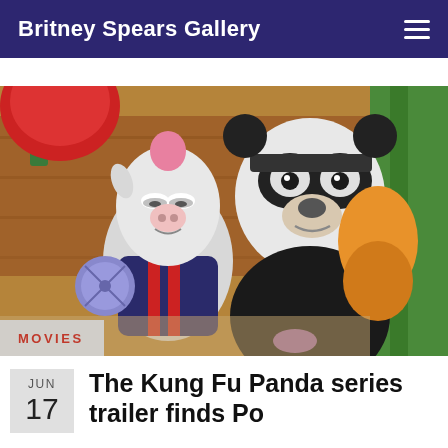Britney Spears Gallery
[Figure (photo): Animated scene from Kung Fu Panda showing a white goat/ox villain character and a panda character in a wrestling mask facing each other in a colorful setting]
MOVIES
JUN 17
The Kung Fu Panda series trailer finds Po